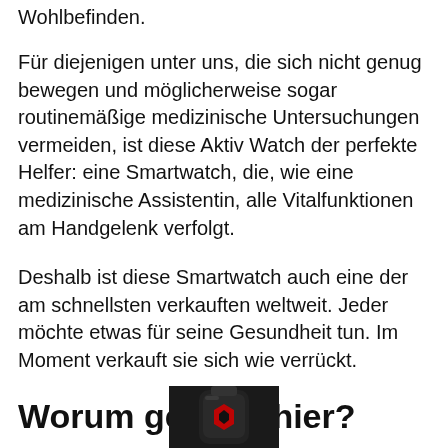Wohlbefinden.
Für diejenigen unter uns, die sich nicht genug bewegen und möglicherweise sogar routinemäßige medizinische Untersuchungen vermeiden, ist diese Aktiv Watch der perfekte Helfer: eine Smartwatch, die, wie eine medizinische Assistentin, alle Vitalfunktionen am Handgelenk verfolgt.
Deshalb ist diese Smartwatch auch eine der am schnellsten verkauften weltweit. Jeder möchte etwas für seine Gesundheit tun. Im Moment verkauft sie sich wie verrückt.
Worum geht es hier?
[Figure (photo): Partial image of a smartwatch with red and dark design, cropped at bottom of page]